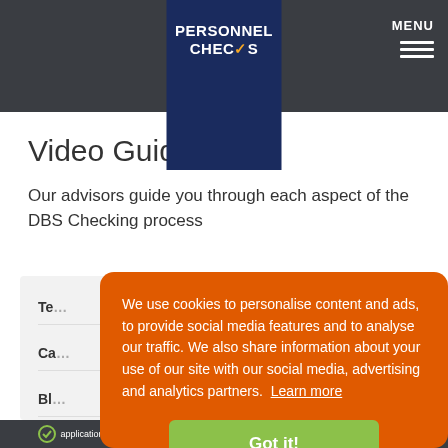PERSONNEL CHECKS
Video Guides
Our advisors guide you through each aspect of the DBS Checking process
Te...
Ca...
Bl...
Ne...
C...
We use cookies to personalise content and ads, to provide social media features and to analyse our traffic. We also share information about your use of our site with our social media, advertising and analytics partners. Learn more
Got it!
application processing   setup process   hidden fees